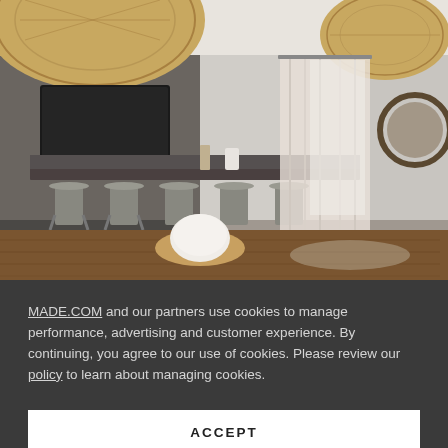[Figure (photo): Interior photo of a modern open-plan living and dining area with boho style. Features a large wooden dining table in the foreground, rattan/wicker pendant lights hanging from ceiling, a hanging egg/bubble chair in the middle background, bar stools along a kitchen counter, sheer white curtains, and decorative plants and mirrors. Natural wood tones and neutral colors throughout.]
MADE.COM and our partners use cookies to manage performance, advertising and customer experience. By continuing, you agree to our use of cookies. Please review our policy to learn about managing cookies.
ACCEPT